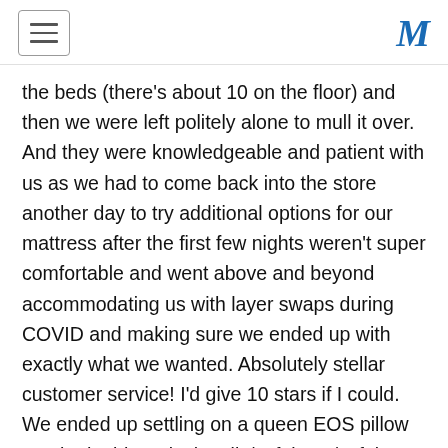[hamburger menu] [M logo]
the beds (there's about 10 on the floor) and then we were left politely alone to mull it over. And they were knowledgeable and patient with us as we had to come back into the store another day to try additional options for our mattress after the first few nights weren't super comfortable and went above and beyond accommodating us with layer swaps during COVID and making sure we ended up with exactly what we wanted. Absolutely stellar customer service! I'd give 10 stars if I could. We ended up settling on a queen EOS pillow top, both sides 'plush coils/soft latex/soft latex', which is as soft as this arrangement could get. For reference my partner and I are 5'5" and 130 lbs and 5'10" and 150 lbs. And even this arrangement would probably feel